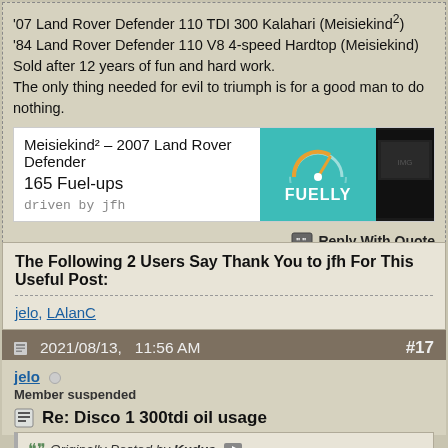'07 Land Rover Defender 110 TDI 300 Kalahari (Meisiekind²)
'84 Land Rover Defender 110 V8 4-speed Hardtop (Meisiekind) Sold after 12 years of fun and hard work.
The only thing needed for evil to triumph is for a good man to do nothing.
[Figure (infographic): Fuelly widget showing Meisiekind² - 2007 Land Rover Defender, 165 Fuel-ups, driven by jfh, with Fuelly logo on teal background and a vehicle photo]
Reply With Quote
The Following 2 Users Say Thank You to jfh For This Useful Post:
jelo, LAlanC
2021/08/13,   11:56 AM    #17
jelo
Member suspended
Re: Disco 1 300tdi oil usage
Originally Posted by Kudus
Now it is opening the engine to see if an oil ring maybe didn't